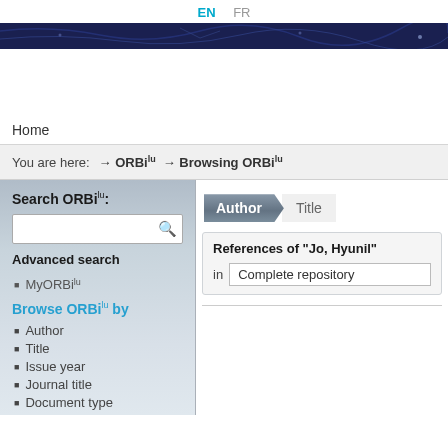EN  FR
[Figure (illustration): Dark blue banner image with decorative network/circuit pattern]
Home
You are here:  → ORBilu  → Browsing ORBilu
Search ORBilu:
Advanced search
MyORBilu
Browse ORBilu by
Author
Title
Issue year
Journal title
Document type
Author  Title
References of "Jo, Hyunil"
in  Complete repository